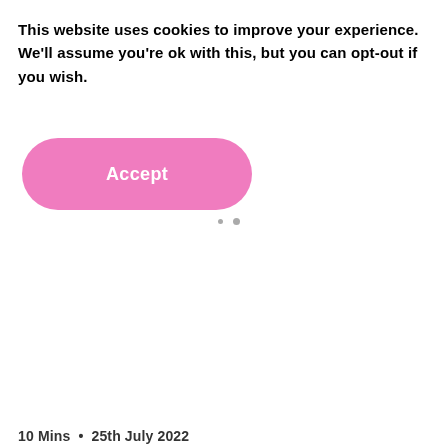This website uses cookies to improve your experience. We'll assume you're ok with this, but you can opt-out if you wish.
[Figure (other): Pink rounded button labeled 'Accept']
[Figure (other): Two small grey dots indicating a loading spinner]
10 Mins  •  25th July 2022